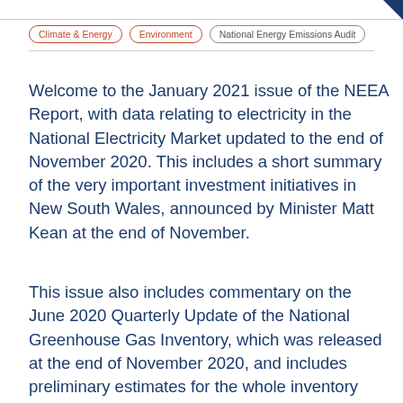Climate & Energy   Environment   National Energy Emissions Audit
Welcome to the January 2021 issue of the NEEA Report, with data relating to electricity in the National Electricity Market updated to the end of November 2020. This includes a short summary of the very important investment initiatives in New South Wales, announced by Minister Matt Kean at the end of November.
This issue also includes commentary on the June 2020 Quarterly Update of the National Greenhouse Gas Inventory, which was released at the end of November 2020, and includes preliminary estimates for the whole inventory year